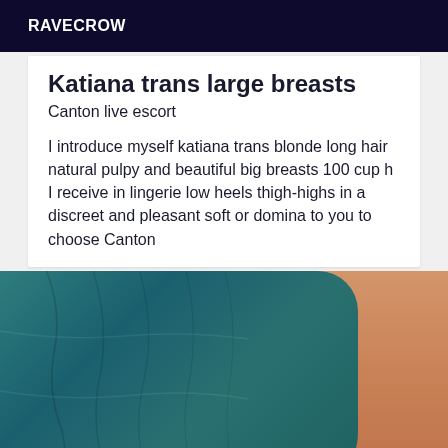RAVECROW
Katiana trans large breasts
Canton live escort
I introduce myself katiana trans blonde long hair natural pulpy and beautiful big breasts 100 cup h I receive in lingerie low heels thigh-highs in a discreet and pleasant soft or domina to you to choose Canton
[Figure (photo): Close-up photo of a person wearing a teal/dark turquoise top, showing torso area with skin visible on the right side]